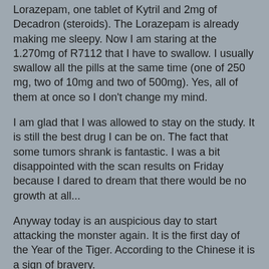Lorazepam, one tablet of Kytril and 2mg of Decadron (steroids). The Lorazepam is already making me sleepy. Now I am staring at the 1.270mg of R7112 that I have to swallow. I usually swallow all the pills at the same time (one of 250 mg, two of 10mg and two of 500mg). Yes, all of them at once so I don't change my mind.
I am glad that I was allowed to stay on the study. It is still the best drug I can be on. The fact that some tumors shrank is fantastic. I was a bit disappointed with the scan results on Friday because I dared to dream that there would be no growth at all...
Anyway today is an auspicious day to start attacking the monster again. It is the first day of the Year of the Tiger. According to the Chinese it is a sign of bravery.
I wish you all a Happy Lunar Year 恭喜發財 新年快樂 Kung Hei Fat Choi
... and muito Samba and lots of dopamine, norepinephrine and phenylethylamine since it is also Carnaval and Valentine's day.